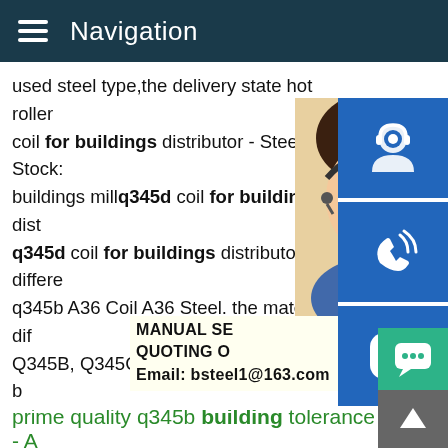Navigation
used steel type,the delivery state hot roller coil for buildings distributor - Steel Stocks buildings millq345d coil for buildings dist q345d coil for buildings distributor. differe q345b A36 Coil A36 Steel. the material dif Q345B, Q345C, Q345D and , difference b q345b. the material difference of Q345A, C and Q345E Q345 is a kind of steel materia distributor - Steel Stocks Q345B steel for b for buildings distributor Steel Liste Q345 . distributor. difference between q235b and q345b A36 Coil A36 Steel. the material difference of Q345A, Q345B, Q345C, Q345D and , difference between q235b and q345b. the material difference of Q345A, Q345B, Q345C, Q345D and Q345E Q345 is a kind steel material.
[Figure (photo): Woman with headset customer service representative]
[Figure (infographic): Blue sidebar buttons: customer service icon, phone icon, Skype icon]
MANUAL SE... QUOTING O... Email: bsteel1@163.com
prime quality q345b building tolerance - A...